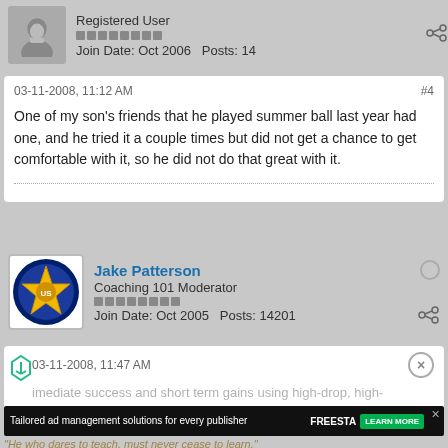Registered User
Join Date: Oct 2006  Posts: 14
03-11-2008, 11:12 AM  #4
One of my son's friends that he played summer ball last year had one, and he tried it a couple times but did not get a chance to get comfortable with it, so he did not do that great with it.
Jake Patterson
Coaching 101 Moderator
Join Date: Oct 2005  Posts: 14201
03-11-2008, 11:47 AM
imediate success and short term gains using high-drop, high-trampoline bats will result in us and our sons at BIG Jake
[Figure (screenshot): Advertisement banner for Freesta ad management solutions]
"He who dares to teach, must never cease to learn."